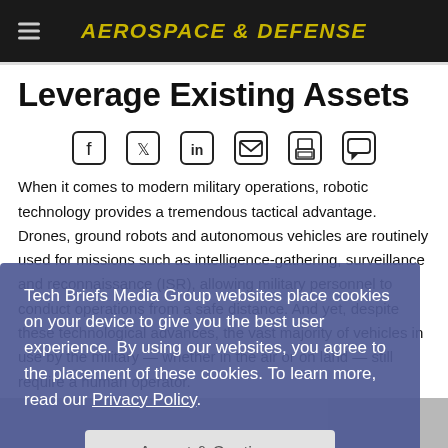AEROSPACE & DEFENSE
Leverage Existing Assets
[Figure (other): Row of social sharing icons: Facebook, Twitter, LinkedIn, Email, Print, Comment]
When it comes to modern military operations, robotic technology provides a tremendous tactical advantage. Drones, ground robots and autonomous vehicles are routinely used for missions such as intelligence-gathering, surveillance and reconnaissance (ISR), allowing military personnel to conduct operations from a safe distance. And yet, despite these technological advances, the vast majority of vehicles in use by the military — whether in the air or on land — still require a human operator.
Tech Briefs Media Group websites place cookies on your device to give you the best user experience. By using our websites, you agree to the placement of these cookies. To learn more, read our Privacy Policy.
Accept & Continue